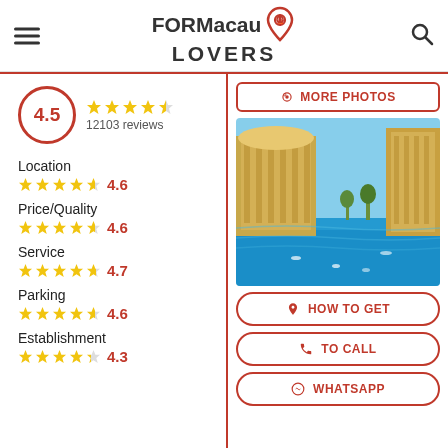FOR Macau LOVERS
4.5 · 12103 reviews
Location 4.6
Price/Quality 4.6
Service 4.7
Parking 4.6
Establishment 4.3
[Figure (photo): Luxury hotel/resort with ornate gold facade and large swimming pool with people, blue sky, Macau]
MORE PHOTOS
HOW TO GET
TO CALL
WHATSAPP